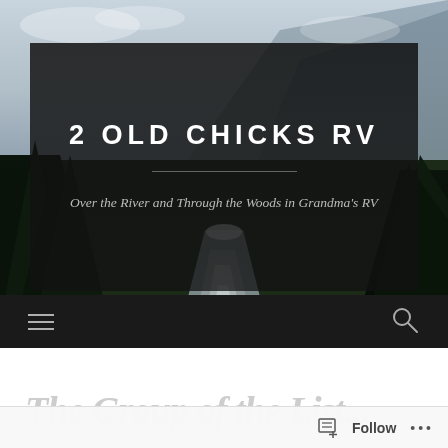[Figure (photo): Scenic landscape with mountains, pine trees, and a winding road disappearing into the distance. Dark semi-transparent overlay covers central portion. Sky visible at top with clouds.]
2 OLD CHICKS RV
Over the River and Through the Woods in Grandma's RV
[Figure (screenshot): Dark navigation bar with hamburger menu icon on left and search magnifying glass icon on right]
The Group of the List...
Follow ...